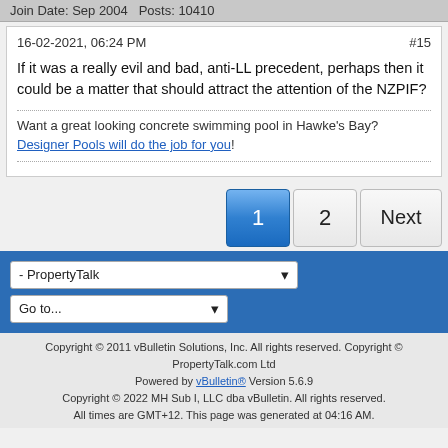Join Date: Sep 2004   Posts: 10410
16-02-2021, 06:24 PM
#15
If it was a really evil and bad, anti-LL precedent, perhaps then it could be a matter that should attract the attention of the NZPIF?
Want a great looking concrete swimming pool in Hawke's Bay? Designer Pools will do the job for you!
Pagination: 1  2  Next
- PropertyTalk dropdown
Go to... dropdown
Copyright © 2011 vBulletin Solutions, Inc. All rights reserved. Copyright © PropertyTalk.com Ltd
Powered by vBulletin® Version 5.6.9
Copyright © 2022 MH Sub I, LLC dba vBulletin. All rights reserved.
All times are GMT+12. This page was generated at 04:16 AM.